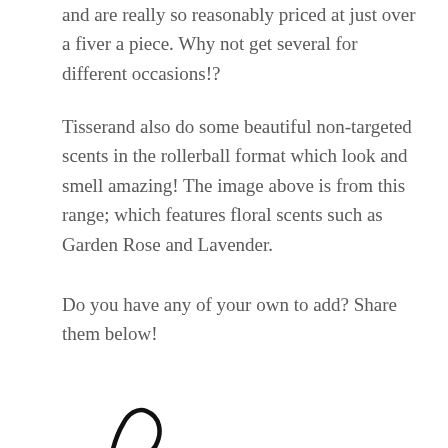and are really so reasonably priced at just over a fiver a piece. Why not get several for different occasions!?
Tisserand also do some beautiful non-targeted scents in the rollerball format which look and smell amazing! The image above is from this range; which features floral scents such as Garden Rose and Lavender.
Do you have any of your own to add? Share them below!
[Figure (illustration): Handwritten cursive signature reading 'Rose' in black ink on white background]